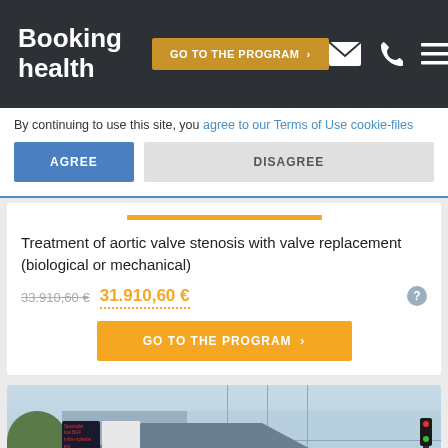Booking health
By continuing to use this site, you agree to our Terms of Use cookie-files
AGREE
DISAGREE
Treatment of aortic valve stenosis with valve replacement (biological or mechanical)
33.910,60 € 31.910,60 €
GO TO THE PROGRAM ›
[Figure (photo): Hospital building exterior with entrance canopy, signage board, and traffic light]